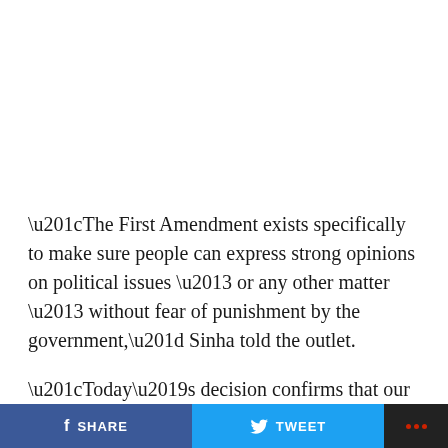“The First Amendment exists specifically to make sure people can express strong opinions on political issues – or any other matter – without fear of punishment by the government,” Sinha told the outlet.
“Today’s decision confirms that our position was correct: Roselle Park had no grounds to issue fines for a political sign and the town’s use of its obscenity ordinance